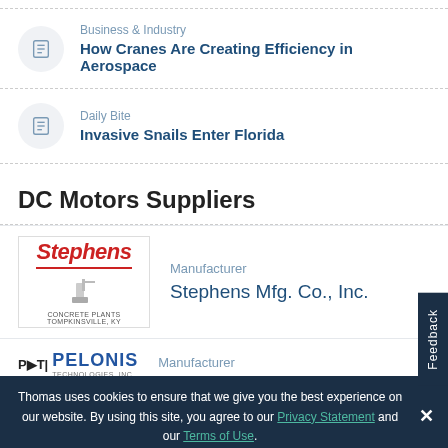Business & Industry — How Cranes Are Creating Efficiency in Aerospace
Daily Bite — Invasive Snails Enter Florida
DC Motors Suppliers
Manufacturer — Stephens Mfg. Co., Inc.
Manufacturer — Pelonis Technologies
Thomas uses cookies to ensure that we give you the best experience on our website. By using this site, you agree to our Privacy Statement and our Terms of Use.